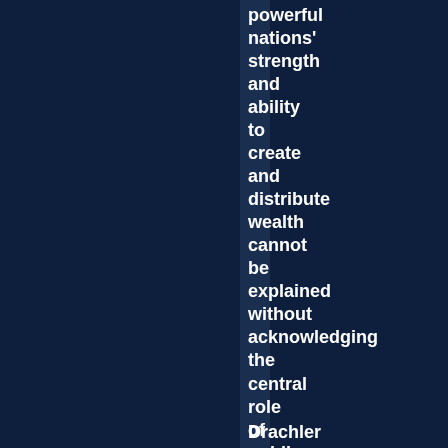powerful nations' strength and ability to create and distribute wealth cannot be explained without acknowledging the central role of public institutions."■
Drachler